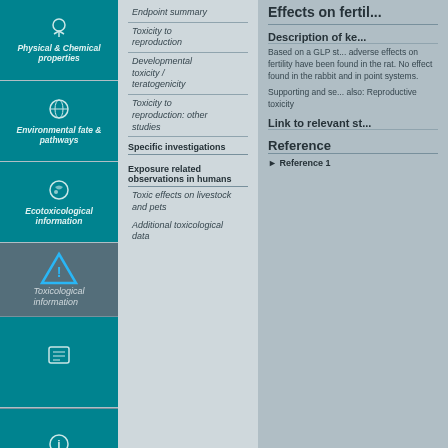Physical & Chemical properties
Environmental fate & pathways
Ecotoxicological information
Toxicological information
Endpoint summary
Toxicity to reproduction
Developmental toxicity / teratogenicity
Toxicity to reproduction: other studies
Specific investigations
Exposure related observations in humans
Toxic effects on livestock and pets
Additional toxicological data
Effects on fertility
Description of key information
Based on a GLP study, adverse effects on fertility have been found in the rat. No effect observed in the rabbit and in point systems.
Supporting and secondary studies also: Reproductive toxicity
Link to relevant study records
Reference
Reference 1